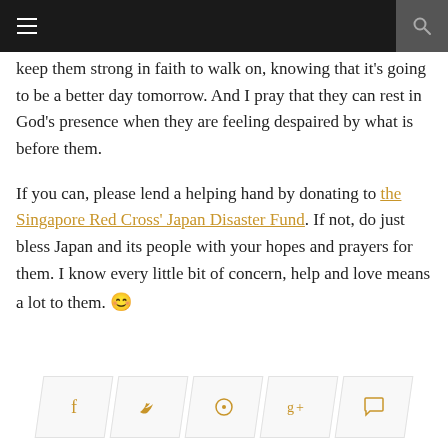Navigation bar with hamburger menu and search icon
keep them strong in faith to walk on, knowing that it's going to be a better day tomorrow. And I pray that they can rest in God's presence when they are feeling despaired by what is before them.

If you can, please lend a helping hand by donating to the Singapore Red Cross' Japan Disaster Fund. If not, do just bless Japan and its people with your hopes and prayers for them. I know every little bit of concern, help and love means a lot to them. 😊
[Figure (other): Social sharing buttons: Facebook, Twitter, Pinterest, Google+, Comment]